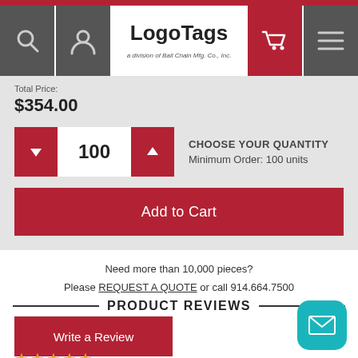LogoTags — a division of Ball Chain Mfg. Co., Inc.
Total Price: $354.00
CHOOSE YOUR QUANTITY
Minimum Order: 100 units
Add to Cart
Need more than 10,000 pieces?
Please REQUEST A QUOTE or call 914.664.7500
PRODUCT REVIEWS
Write a Review
The Best Quality and Customer Service
★★★★★
Posted by: Row on Sep 22, 2019